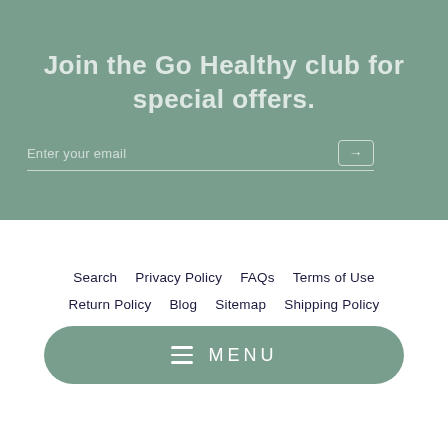Join the Go Healthy club for special offers.
Enter your email
Search  Privacy Policy  FAQs  Terms of Use  Return Policy  Blog  Sitemap  Shipping Policy
[Figure (other): Menu button with hamburger icon and MENU text on sage green rounded rectangle]
[Figure (logo): VISA payment logo in blue italic text inside a rounded border box]